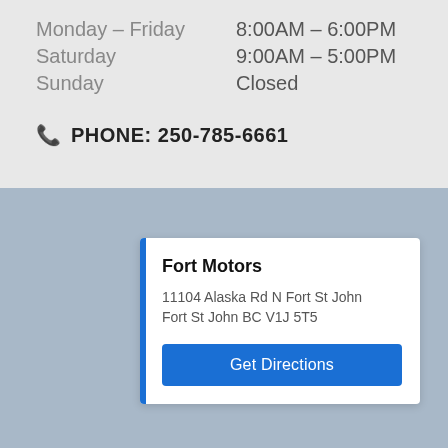Monday - Friday   8:00AM - 6:00PM
Saturday   9:00AM - 5:00PM
Sunday   Closed
PHONE: 250-785-6661
[Figure (map): Muted blue-grey map background]
Fort Motors
11104 Alaska Rd N Fort St John Fort St John BC V1J 5T5
Get Directions